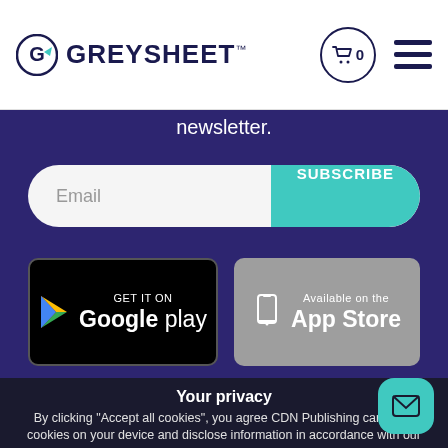[Figure (logo): Greysheet logo with G arrow icon and GREYSHEET text in dark navy]
newsletter.
[Figure (screenshot): Email input field with SUBSCRIBE button]
[Figure (logo): GET IT ON Google Play badge]
[Figure (logo): Available on the App Store badge]
Your privacy
By clicking "Accept all cookies", you agree CDN Publishing can store cookies on your device and disclose information in accordance with our Cookie Policy.
[Figure (other): Accept all cookies button]